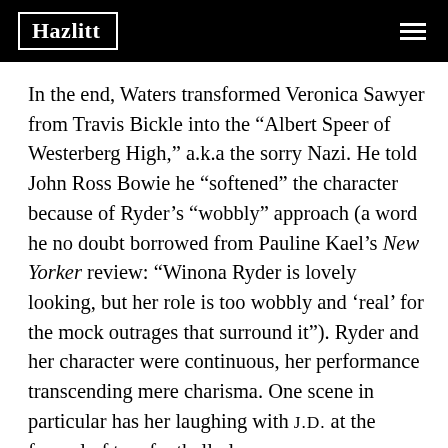Hazlitt
In the end, Waters transformed Veronica Sawyer from Travis Bickle into the “Albert Speer of Westerberg High,” a.k.a the sorry Nazi. He told John Ross Bowie he “softened” the character because of Ryder’s “wobbly” approach (a word he no doubt borrowed from Pauline Kael’s New Yorker review: “Winona Ryder is lovely looking, but her role is too wobbly and ‘real’ for the mock outrages that surround it”). Ryder and her character were continuous, her performance transcending mere charisma. One scene in particular has her laughing with J.D. at the funeral of two football players—